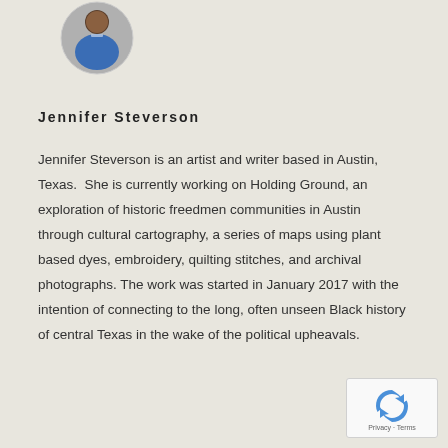[Figure (photo): Circular profile photo of Jennifer Steverson, cropped at shoulders showing face and upper body, wearing a blue top]
Jennifer Steverson
Jennifer Steverson is an artist and writer based in Austin, Texas.  She is currently working on Holding Ground, an exploration of historic freedmen communities in Austin through cultural cartography, a series of maps using plant based dyes, embroidery, quilting stitches, and archival photographs. The work was started in January 2017 with the intention of connecting to the long, often unseen Black history of central Texas in the wake of the political upheavals.
[Figure (logo): Google reCAPTCHA badge with Privacy and Terms text]